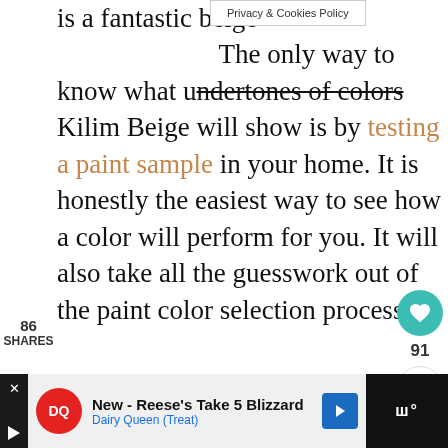Privacy & Cookies Policy
is a fantastic beige ... The only way to know what undertones of colors Kilim Beige will show is by testing a paint sample in your home. It is honestly the easiest way to see how a color will perform for you. It will also take all the guesswork out of the paint color selection process.
86
SHARES
[Figure (infographic): Facebook share button (blue)]
[Figure (infographic): Twitter share button (light blue)]
[Figure (infographic): Pinterest share button (red)]
[Figure (infographic): Heart/like button (teal circle) with count 91 and share icon]
WHAT'S NEXT → Sherwin Williams...
New - Reese's Take 5 Blizzard
Dairy Queen (Treat)